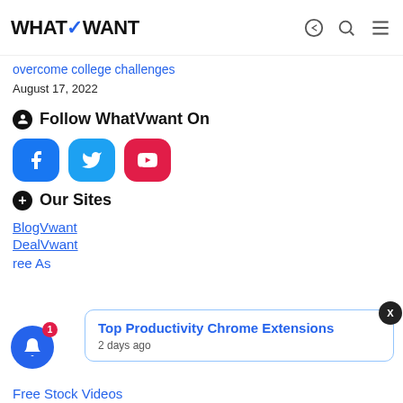WHATVWANT
overcome college challenges
August 17, 2022
Follow WhatVwant On
[Figure (other): Social media buttons: Facebook (blue), Twitter (light blue), YouTube (red)]
Our Sites
BlogVwant
DealVwant
ree As
Top Productivity Chrome Extensions
2 days ago
Free Stock Videos